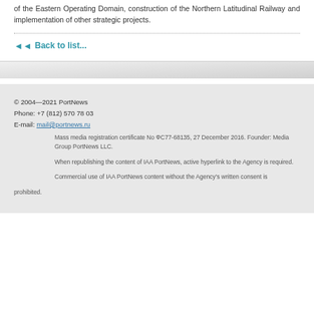of the Eastern Operating Domain, construction of the Northern Latitudinal Railway and implementation of other strategic projects.
◄◄ Back to list...
© 2004—2021 PortNews
Phone: +7 (812) 570 78 03
E-mail: mail@portnews.ru
Mass media registration certificate No ФС77-68135, 27 December 2016. Founder: Media Group PortNews LLC.
When republishing the content of IAA PortNews, active hyperlink to the Agency is required.
Commercial use of IAA PortNews content without the Agency's written consent is prohibited.